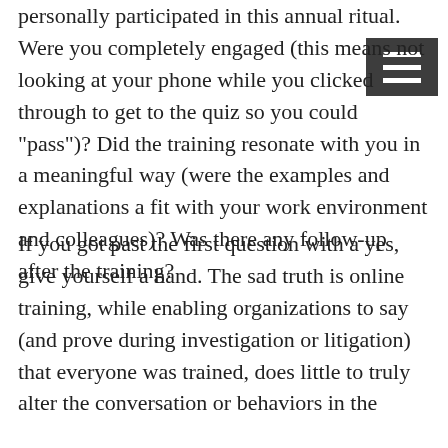personally participated in this annual ritual. Were you completely engaged (this means not looking at your phone while you clicked through to get to the quiz so you could "pass")? Did the training resonate with you in a meaningful way (were the examples and explanations a fit with your work environment and colleagues)? Was there any follow-up after the training?
If you got past the first question with a yes, give yourself a hand. The sad truth is online training, while enabling organizations to say (and prove during investigation or litigation) that everyone was trained, does little to truly alter the conversation or behaviors in the